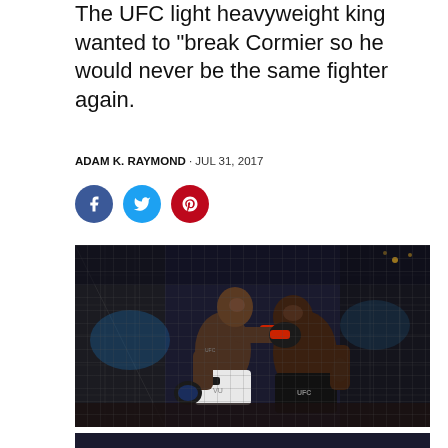The UFC light heavyweight king wanted to break Cormier so he would never be the same fighter again.
ADAM K. RAYMOND · JUL 31, 2017
[Figure (other): Social media share icons: Facebook (blue circle), Twitter (blue circle), Pinterest (red circle)]
[Figure (photo): Two UFC fighters exchanging punches in the octagon cage, one in white shorts (Jon Jones) throwing a punch at the other (Daniel Cormier) in dark shorts, both wearing UFC MMA gloves with red wrist wraps]
[Figure (photo): Partial view of another UFC fight photo at bottom of page]